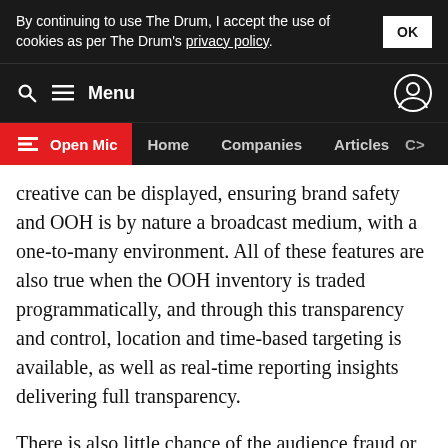By continuing to use The Drum, I accept the use of cookies as per The Drum's privacy policy.
Menu
Open Mic  Home  Companies  Articles  C>
creative can be displayed, ensuring brand safety and OOH is by nature a broadcast medium, with a one-to-many environment. All of these features are also true when the OOH inventory is traded programmatically, and through this transparency and control, location and time-based targeting is available, as well as real-time reporting insights delivering full transparency.
There is also little chance of the audience fraud or click bots that can be found in programmatic display. Digital OOH uses both first- and third-